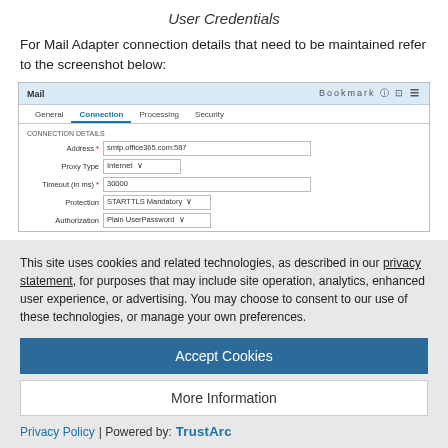User Credentials
For Mail Adapter connection details that need to be maintained refer to the screenshot below:
[Figure (screenshot): Screenshot of Mail Adapter connection details form with fields: Address (smtp.office365.com:587), Proxy Type (Internet), Timeout (in ms) (30000), Protection (STARTTLS Mandatory), Authorization (Plain UserPassword)]
This site uses cookies and related technologies, as described in our privacy statement, for purposes that may include site operation, analytics, enhanced user experience, or advertising. You may choose to consent to our use of these technologies, or manage your own preferences.
Accept Cookies
More Information
Privacy Policy | Powered by: TrustArc
Customers i.e. Gmail users. If you wish to use other Mail ID's, you